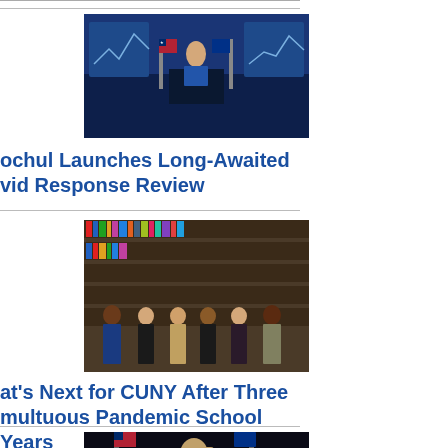[Figure (photo): Official press conference with person at podium, American and state flags, screens showing charts in background]
ochul Launches Long-Awaited ovid Response Review
[Figure (photo): Group of people standing in front of library bookshelves]
at's Next for CUNY After Three multuous Pandemic School Years
[Figure (photo): Person at podium with American and state flags in background]